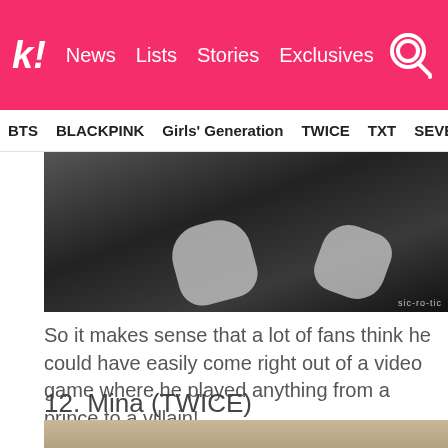k! News  Lists  Stories  Exclusives
BTS  BLACKPINK  Girls' Generation  TWICE  TXT  SEVE...
[Figure (photo): Black and white photo showing a person in dark clothing with hands raised/gesturing, watermark text visible in bottom right corner]
So it makes sense that a lot of fans think he could have easily come right out of a video game where he played anything from a prince to a villain!
12. Mina (TWICE)
[Figure (photo): Partial photo with tan/beige background, appears to show a decorative element, image is cut off at bottom of page]